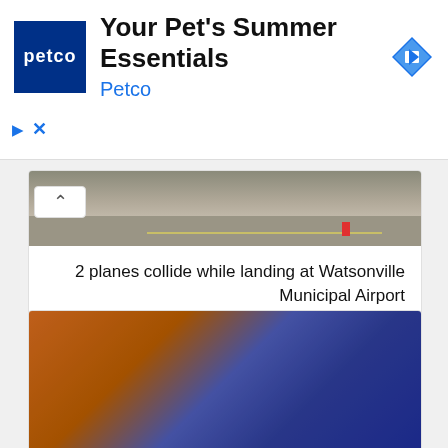[Figure (screenshot): Petco advertisement banner with blue Petco logo square, text 'Your Pet's Summer Essentials' and 'Petco' subtitle, and a blue diamond navigation arrow icon on the right. Ad controls showing play arrow and X close button at bottom left.]
[Figure (photo): Aerial or ground-level photo of a runway/road surface with yellow markings and an orange traffic cone visible.]
2 planes collide while landing at Watsonville Municipal Airport
[Figure (photo): Blurry video still showing several people in an outdoor setting; a person in a blue sweatshirt appears to be standing over someone on the ground; other people in orange and dark clothing visible around them.]
Off-duty Chicago cop charged after allegedly pinning boy to ground in Park Ridge – NBC Chicago